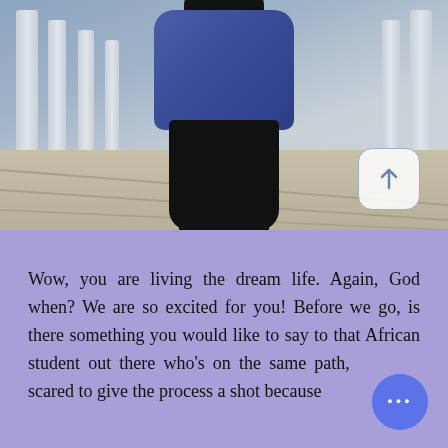[Figure (photo): A person wearing a blue hoodie and black leggings/pants, posing outdoors near stone balustrade pillars and steps. An upward arrow button is visible in the lower-right of the photo.]
Wow, you are living the dream life. Again, God when? We are so excited for you! Before we go, is there something you would like to say to that African student out there who's on the same path, scared to give the process a shot because